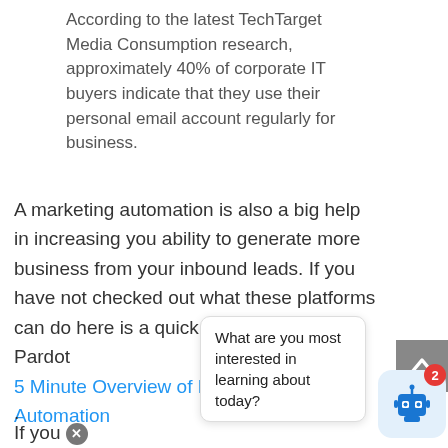According to the latest TechTarget Media Consumption research, approximately 40% of corporate IT buyers indicate that they use their personal email account regularly for business.
A marketing automation is also a big help in increasing you ability to generate more business from your inbound leads. If you have not checked out what these platforms can do here is a quick overview from Pardot 5 Minute Overview of Marketing Automation .
If you [X]ri... marketing... te track to sales results feel free to contact us
What are you most interested in learning about today?